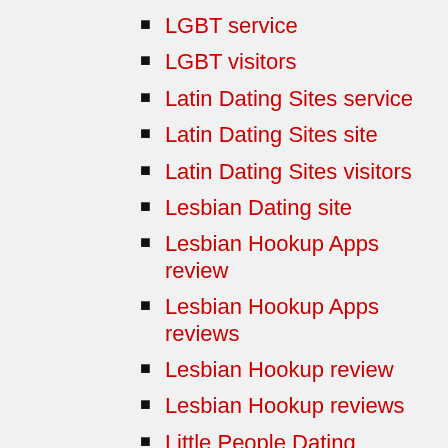LGBT service
LGBT visitors
Latin Dating Sites service
Latin Dating Sites site
Latin Dating Sites visitors
Lesbian Dating site
Lesbian Hookup Apps review
Lesbian Hookup Apps reviews
Lesbian Hookup review
Lesbian Hookup reviews
Little People Dating service
Little People Dating services
Little People Dating site
Little People Dating visitors
Little People Dating website
LittlePeopleMeet review